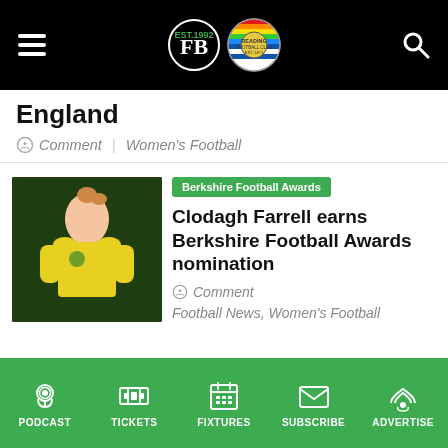Navigation bar with hamburger menu, FB and Reading FC logos, search icon
England
Comment | Women's Football
[Figure (photo): Photo of Clodagh Farrell, a female football player in a yellow shirt, against a dark green background]
Berkshire Football Awards
Clodagh Farrell earns Berkshire Football Awards nomination
Comment
Football News, Women's Football
PODCAST | TICKETS | FIXTURES | SUBSCRIBE | ADVERTISE